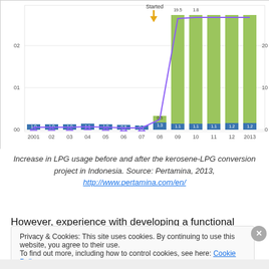[Figure (stacked-bar-chart): LPG usage before and after kerosene-LPG conversion]
Increase in LPG usage before and after the kerosene-LPG conversion project in Indonesia. Source: Pertamina, 2013, http://www.pertamina.com/en/
However, experience with developing a functional private market for LPG in some developing countries is limited,
Privacy & Cookies: This site uses cookies. By continuing to use this website, you agree to their use.
To find out more, including how to control cookies, see here: Cookie Policy